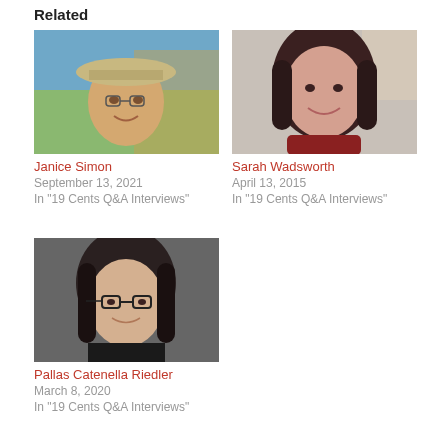Related
[Figure (photo): Photo of Janice Simon outdoors wearing a hat]
Janice Simon
September 13, 2021
In "19 Cents Q&A Interviews"
[Figure (photo): Photo of Sarah Wadsworth smiling]
Sarah Wadsworth
April 13, 2015
In "19 Cents Q&A Interviews"
[Figure (photo): Photo of Pallas Catenella Riedler wearing glasses]
Pallas Catenella Riedler
March 8, 2020
In "19 Cents Q&A Interviews"